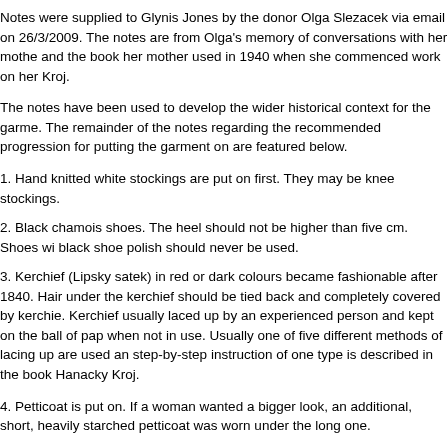Notes were supplied to Glynis Jones by the donor Olga Slezacek via email on 26/3/2009.  The notes are from Olga's memory of conversations with her mothe and the book her mother used in 1940 when she commenced work on her Kroj.
The notes have been used to develop the wider historical context for the garme. The remainder of the notes regarding the recommended progression for putting the garment on are featured below.
1. Hand knitted white stockings are put on first. They may be knee stockings.
2. Black chamois shoes. The heel should not be higher than five cm. Shoes wi black shoe polish should never be used.
3. Kerchief (Lipsky satek) in red or dark colours became fashionable after 1840. Hair under the kerchief should be tied back and completely covered by kerchie. Kerchief usually laced up by an experienced person and kept on the ball of pap when not in use. Usually one of five different methods of lacing up are used an step-by-step instruction of one type is described in the book Hanacky Kroj.
4. Petticoat is put on.  If a woman wanted a bigger look, an additional, short, heavily starched petticoat was worn under the long one.
5. Next three parts are put on together:
Opleci (back panel embroidered with cream-coloured thread and tied up at the front with thin red ribbon.)